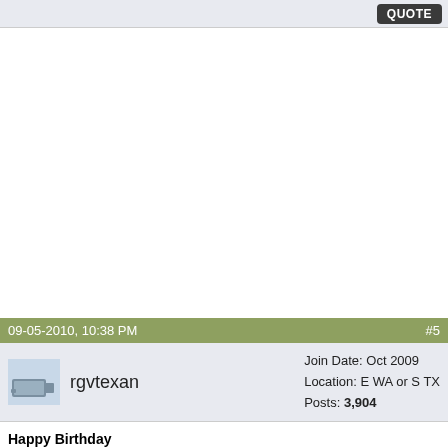QUOTE
09-05-2010, 10:38 PM  #5
rgvtexan  Join Date: Oct 2009  Location: E WA or S TX  Posts: 3,904
Happy Birthday
Happy Birthday!